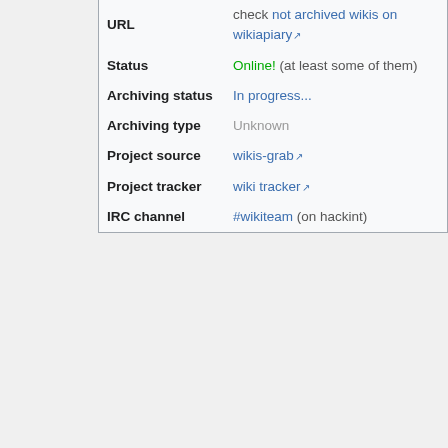| Field | Value |
| --- | --- |
| URL | check not archived wikis on wikiapiary |
| Status | Online! (at least some of them) |
| Archiving status | In progress... |
| Archiving type | Unknown |
| Project source | wikis-grab |
| Project tracker | wiki tracker |
| IRC channel | #wikiteam (on hackint) |
WikiTeam software is a set of tools for archiving wikis. They work on MediaWiki wikis, but we want to expand to other wiki engines. As of January 2017, WikiTeam has preserved more than 27,000 stand-alone.
You can check our collection at Internet Archive, the source code in GitHub and some lists of wikis by status in WikiApiary.
Contents [hide]